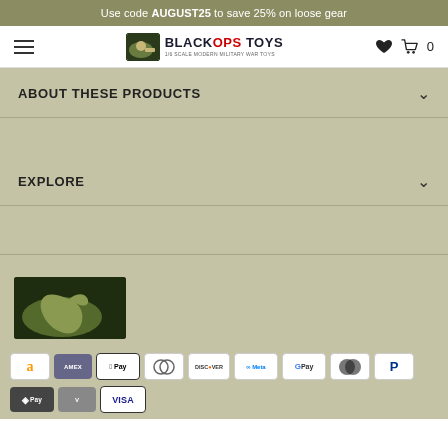Use code AUGUST25 to save 25% on loose gear
[Figure (logo): Black Ops Toys logo — 1/6 scale modern military war toys, with hamburger menu, heart icon, cart icon and 0 count]
ABOUT THESE PRODUCTS
EXPLORE
[Figure (logo): Black Ops Toys brand logo image — dark green with tan soldier silhouette]
[Figure (infographic): Payment method icons row 1: Amazon Pay, Amex, Apple Pay, Diners Club, Discover, Meta Pay, Google Pay, Mastercard, PayPal]
[Figure (infographic): Payment method icons row 2: partial — DPay, Venmo, Visa]